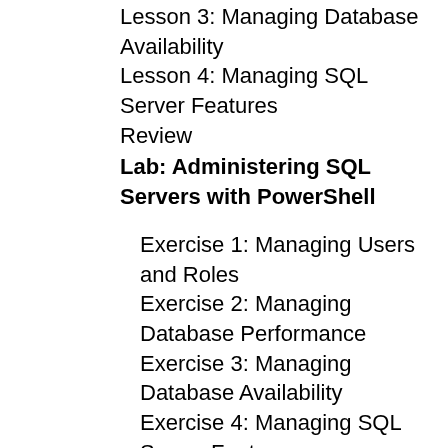Lesson 3: Managing Database Availability
Lesson 4: Managing SQL Server Features
Review
Lab: Administering SQL Servers with PowerShell
Exercise 1: Managing Users and Roles
Exercise 2: Managing Database Performance
Exercise 3: Managing Database Availability
Exercise 4: Managing SQL Server Features
After completing this module, students will be able to:
Manage Users and Roles
Manage Database Performance
Manage Database Availability